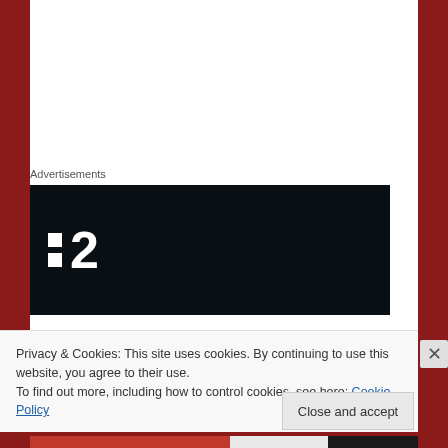Advertisements
[Figure (logo): Dark background advertisement banner with white logo showing two small squares and the number 2]
The slow unfurling of events is utterly gripping, in a way you wouldn't expect it to be. There is one scene in particular which begins with a close-up of a telephone with an off-screen voice coming from it. The camera slowly pulls back to reveal more of
Privacy & Cookies: This site uses cookies. By continuing to use this website, you agree to their use.
To find out more, including how to control cookies, see here: Cookie Policy
Close and accept